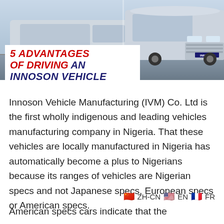[Figure (photo): Two silver/light-colored Innoson vans/minibuses photographed from the front-side angle, on a road. One has an INNOSON badge visible.]
5 ADVANTAGES OF DRIVING AN INNOSON VEHICLE
Innoson Vehicle Manufacturing (IVM) Co. Ltd is the first wholly indigenous and leading vehicles manufacturing company in Nigeria. That these vehicles are locally manufactured in Nigeria has automatically become a plus to Nigerians because its ranges of vehicles are Nigerian specs and not Japanese specs, European specs or American specs.
🇨🇳 ZH-CN 🇺🇸 EN 🇫🇷 FR
American specs cars indicate that the